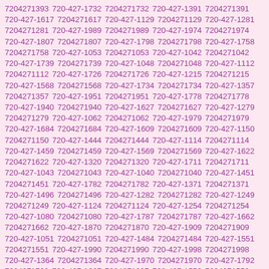7204271393 720-427-1732 7204271732 720-427-1391 7204271391 720-427-1617 7204271617 720-427-1129 7204271129 720-427-1281 7204271281 720-427-1989 7204271989 720-427-1974 7204271974 720-427-1807 7204271807 720-427-1798 7204271798 720-427-1758 7204271758 720-427-1053 7204271053 720-427-1042 7204271042 720-427-1739 7204271739 720-427-1048 7204271048 720-427-1112 7204271112 720-427-1726 7204271726 720-427-1215 7204271215 720-427-1568 7204271568 720-427-1734 7204271734 720-427-1357 7204271357 720-427-1951 7204271951 720-427-1778 7204271778 720-427-1940 7204271940 720-427-1627 7204271627 720-427-1279 7204271279 720-427-1062 7204271062 720-427-1979 7204271979 720-427-1684 7204271684 720-427-1609 7204271609 720-427-1150 7204271150 720-427-1444 7204271444 720-427-1114 7204271114 720-427-1459 7204271459 720-427-1569 7204271569 720-427-1622 7204271622 720-427-1320 7204271320 720-427-1711 7204271711 720-427-1043 7204271043 720-427-1040 7204271040 720-427-1451 7204271451 720-427-1782 7204271782 720-427-1371 7204271371 720-427-1496 7204271496 720-427-1282 7204271282 720-427-1249 7204271249 720-427-1124 7204271124 720-427-1254 7204271254 720-427-1080 7204271080 720-427-1787 7204271787 720-427-1662 7204271662 720-427-1870 7204271870 720-427-1909 7204271909 720-427-1051 7204271051 720-427-1484 7204271484 720-427-1551 7204271551 720-427-1990 7204271990 720-427-1998 7204271998 720-427-1364 7204271364 720-427-1970 7204271970 720-427-1792 7204271792 720-427-1937 7204271937 720-427-1552 7204271552 720-427-1225 7204271225 720-427-1515 7204271515 720-427-1971 7204271971 720-427-1031 7204271031 720-427-1041 7204271041